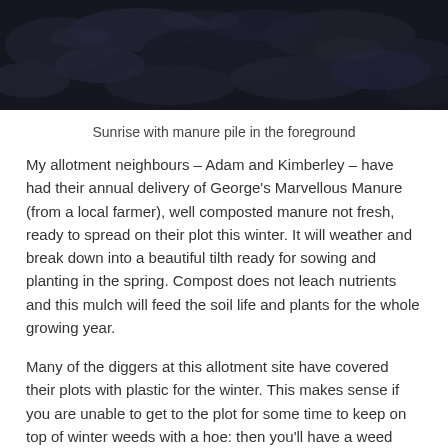[Figure (photo): Dark soil / manure pile photographed close-up, dark navy/black tones, textured surface]
Sunrise with manure pile in the foreground
My allotment neighbours – Adam and Kimberley – have had their annual delivery of George's Marvellous Manure (from a local farmer), well composted manure not fresh, ready to spread on their plot this winter. It will weather and break down into a beautiful tilth ready for sowing and planting in the spring. Compost does not leach nutrients and this mulch will feed the soil life and plants for the whole growing year.
Many of the diggers at this allotment site have covered their plots with plastic for the winter. This makes sense if you are unable to get to the plot for some time to keep on top of winter weeds with a hoe: then you'll have a weed free plot to welcome